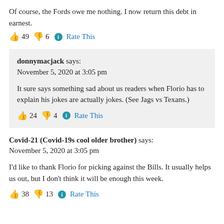Of course, the Fords owe me nothing. I now return this debt in earnest.
👍 49 👎 6 ℹ Rate This
donnymacjack says:
November 5, 2020 at 3:05 pm
It sure says something sad about us readers when Florio has to explain his jokes are actually jokes. (See Jags vs Texans.)
👍 24 👎 4 ℹ Rate This
Covid-21 (Covid-19s cool older brother) says:
November 5, 2020 at 3:05 pm
I'd like to thank Florio for picking against the Bills. It usually helps us out, but I don't think it will be enough this week.
👍 38 👎 13 ℹ Rate This